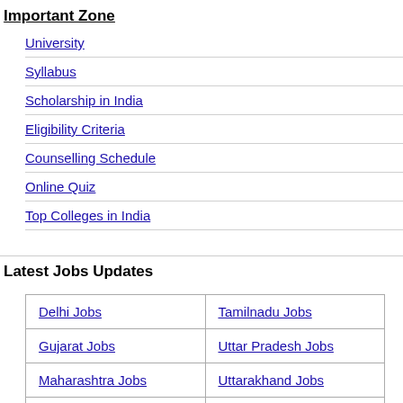Important Zone
University
Syllabus
Scholarship in India
Eligibility Criteria
Counselling Schedule
Online Quiz
Top Colleges in India
Latest Jobs Updates
| Delhi Jobs | Tamilnadu Jobs |
| Gujarat Jobs | Uttar Pradesh Jobs |
| Maharashtra Jobs | Uttarakhand Jobs |
| Punjab Jobs | West Bengal Jobs |